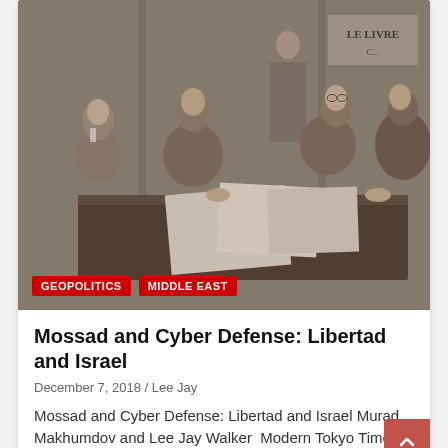[Figure (photo): Black and white historical photograph of five men seated and standing around a table, reviewing documents. Text 'LE LIVRE' visible on sign in background.]
GEOPOLITICS
MIDDLE EAST
Mossad and Cyber Defense: Libertad and Israel
December 7, 2018 / Lee Jay
Mossad and Cyber Defense: Libertad and Israel Murad Makhumdov and Lee Jay Walker  Modern Tokyo Times...
[Figure (photo): Partial view of a room with American flags and Turkish flags visible, with a framed painting in the background. Wikipedia/Getty watermark visible in bottom right corner.]